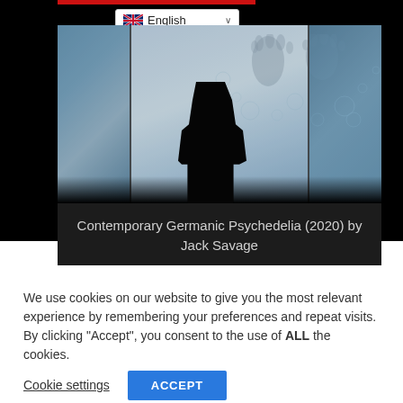[Figure (photo): A dark artwork showing a child silhouette viewed from behind, sitting in front of frosted windows with handprints and bubble-like circular patterns. Two side panels show blue icy/floral textures. The center panel shows the silhouette against a light frosty background with hand impressions.]
Contemporary Germanic Psychedelia (2020) by Jack Savage
We use cookies on our website to give you the most relevant experience by remembering your preferences and repeat visits. By clicking “Accept”, you consent to the use of ALL the cookies.
Cookie settings   ACCEPT